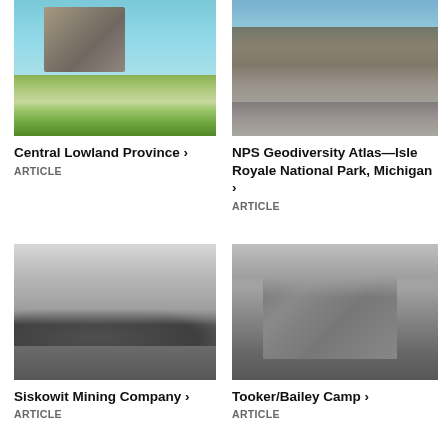[Figure (photo): Color photo of a stone farmhouse building on a grassy hill with a yellow flower in the foreground and blue sky]
Central Lowland Province ›
ARTICLE
[Figure (photo): Color photo of rocky coastline with autumn trees and blue water, Isle Royale National Park]
NPS Geodiversity Atlas—Isle Royale National Park, Michigan ›
ARTICLE
[Figure (photo): Black and white photo of a conical mine waste pile (stamp sand) with bare trees and water, Siskowit Mining Company]
Siskowit Mining Company ›
ARTICLE
[Figure (photo): Black and white photo of a rustic wooden cabin/camp building with trees surrounding it, Tooker/Bailey Camp]
Tooker/Bailey Camp ›
ARTICLE